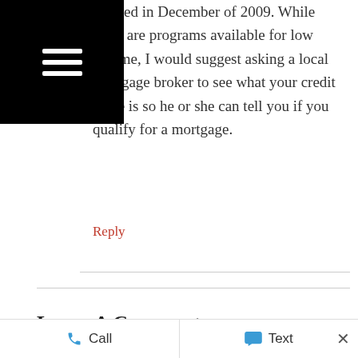expired in December of 2009. While there are programs available for low income, I would suggest asking a local mortgage broker to see what your credit score is so he or she can tell you if you qualify for a mortgage.
Reply
Leave A Comment...
CALL 863.712.4207
Call
Text